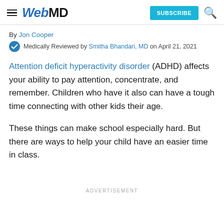WebMD — SUBSCRIBE
By Jon Cooper
Medically Reviewed by Smitha Bhandari, MD on April 21, 2021
Attention deficit hyperactivity disorder (ADHD) affects your ability to pay attention, concentrate, and remember. Children who have it also can have a tough time connecting with other kids their age.
These things can make school especially hard. But there are ways to help your child have an easier time in class.
ADVERTISEMENT